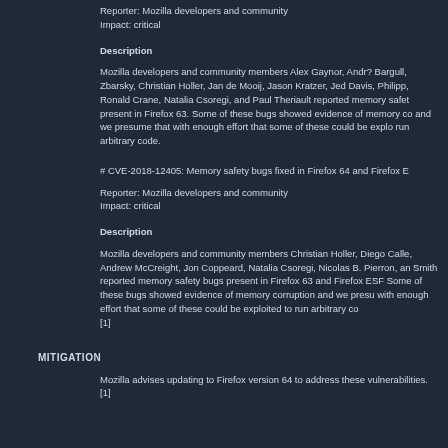Reporter: Mozilla developers and community
Impact: critical
Description
Mozilla developers and community members Alex Gaynor, Andr? Bargull, Zbarsky, Christian Holler, Jan de Mooij, Jason Kratzer, Jed Davis, Philipp, Ronald Crane, Natalia Csoregi, and Paul Theriault reported memory safety bugs present in Firefox 63. Some of these bugs showed evidence of memory corruption and we presume that with enough effort that some of these could be exploited to run arbitrary code.
# CVE-2018-12405: Memory safety bugs fixed in Firefox 64 and Firefox ESR
Reporter: Mozilla developers and community
Impact: critical
Description
Mozilla developers and community members Christian Holler, Diego Calle, Andrew McCreight, Jon Coppeard, Natalia Csoregi, Nicolas B. Pierron, and Smith reported memory safety bugs present in Firefox 63 and Firefox ESR. Some of these bugs showed evidence of memory corruption and we presume that with enough effort that some of these could be exploited to run arbitrary code. [1]
MITIGATION
Mozilla advises updating to Firefox version 64 to address these vulnerabilities. [1]